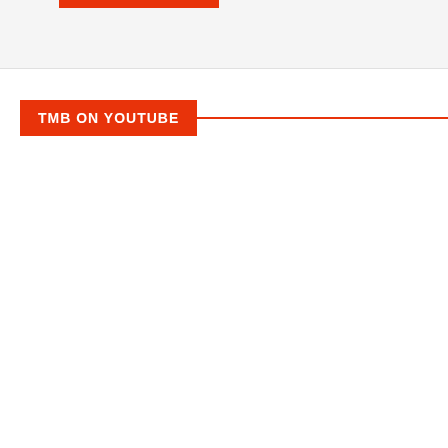[Figure (other): Top grey section with a red bar element at upper left]
TMB ON YOUTUBE